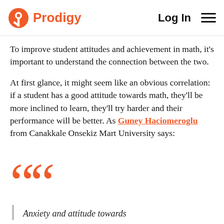Prodigy   Log In
To improve student attitudes and achievement in math, it's important to understand the connection between the two.
At first glance, it might seem like an obvious correlation: if a student has a good attitude towards math, they'll be more inclined to learn, they'll try harder and their performance will be better. As Guney Haciomeroglu from Canakkale Onsekiz Mart University says:
Anxiety and attitude towards